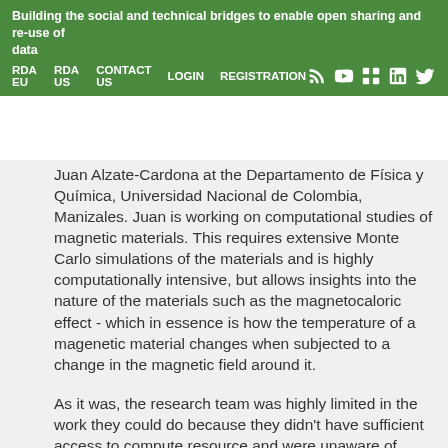Building the social and technical bridges to enable open sharing and re-use of data
RDA EU   RDA US   CONTACT US   LOGIN   REGISTRATION
Juan Alzate-Cardona at the Departamento de Física y Química, Universidad Nacional de Colombia, Manizales. Juan is working on computational studies of magnetic materials. This requires extensive Monte Carlo simulations of the materials and is highly computationally intensive, but allows insights into the nature of the materials such as the magnetocaloric effect - which in essence is how the temperature of a magenetic material changes when subjected to a change in the magnetic field around it.
As it was, the research team was highly limited in the work they could do because they didn't have sufficient access to compute resource and were unaware of freely accessible services like the Open Science Grid (OSG) and how to apply them. During the school Oscar was introduced to the OSG in the Computational Infrastructures course run by Rob Quick. OSG scavenges computing cycles from from the vast amount of grid computing clusters